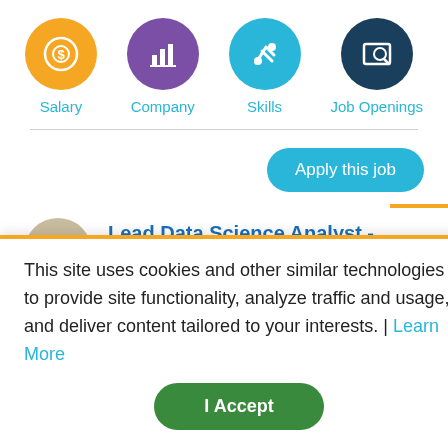[Figure (infographic): Navigation icons row: Salary (yellow circle with dollar coin icon), Company (purple circle with bar chart icon), Skills (teal circle with wrench/tools icon), Job Openings (dark navy circle with monitor/search icon), each with label below in teal text]
[Figure (other): Apply this job button - teal rounded rectangle button]
Lead Data Science Analyst - Fraud Risk Management
Discover
Phoenix, AZ
This site uses cookies and other similar technologies to provide site functionality, analyze traffic and usage, and deliver content tailored to your interests. | Learn More
I Accept